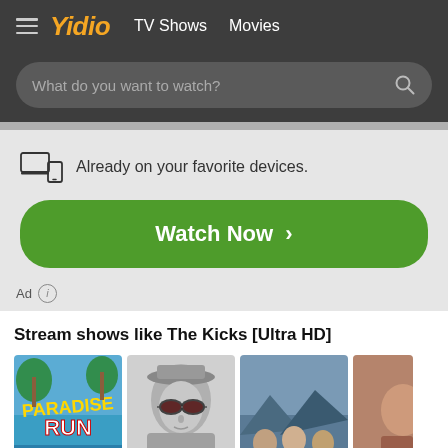Yidio  TV Shows  Movies
What do you want to watch?
Already on your favorite devices.
Watch Now >
Ad
Stream shows like The Kicks [Ultra HD]
[Figure (screenshot): Four TV show/movie thumbnail images in a horizontal row: Paradise Run, Fear and Loathing style black-and-white figure with sunglasses, a drama show with group of people, and a partial fourth thumbnail]